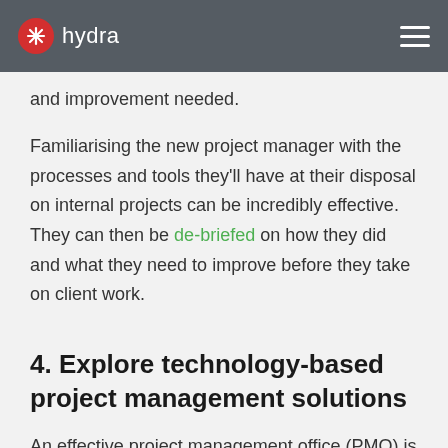hydra
and improvement needed.
Familiarising the new project manager with the processes and tools they'll have at their disposal on internal projects can be incredibly effective. They can then be de-briefed on how they did and what they need to improve before they take on client work.
4. Explore technology-based project management solutions
An effective project management office (PMO) is a